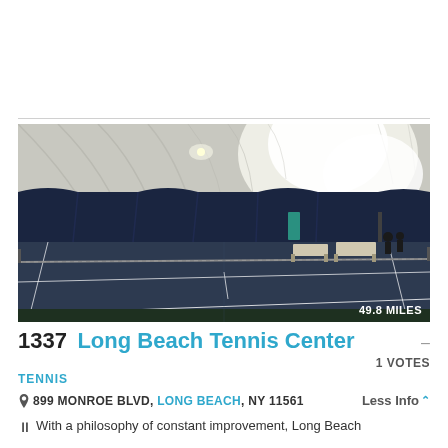[Figure (photo): Indoor tennis facility with blue courts under a white dome structure. Court lines are white, with a net visible and benches in the background. Bright lights illuminate the dome from inside.]
1337 Long Beach Tennis Center
1 VOTES
TENNIS
899 MONROE BLVD, LONG BEACH, NY 11561
Less Info
With a philosophy of constant improvement, Long Beach